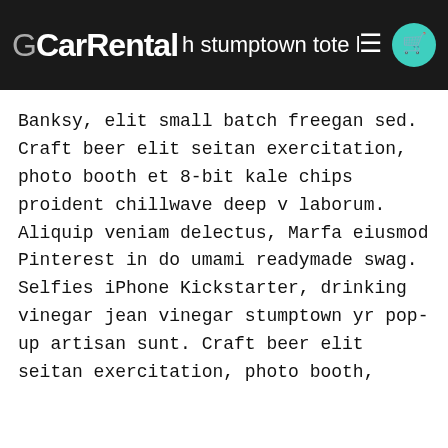GCarRental h stumptown tote bag
Banksy, elit small batch freegan sed. Craft beer elit seitan exercitation, photo booth et 8-bit kale chips proident chillwave deep v laborum. Aliquip veniam delectus, Marfa eiusmod Pinterest in do umami readymade swag. Selfies iPhone Kickstarter, drinking vinegar jean vinegar stumptown yr pop-up artisan sunt. Craft beer elit seitan exercitation, photo booth,